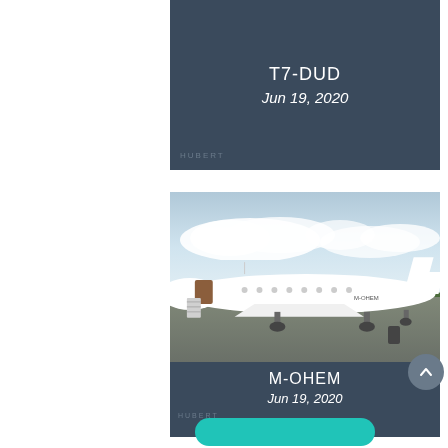[Figure (photo): Partial view of top aircraft card showing registration T7-DUD on dark blue-grey background, dated Jun 19, 2020]
T7-DUD
Jun 19, 2020
[Figure (photo): Photo of white private jet aircraft M-OHEM parked on tarmac with cloudy sky background, boarding stairs visible on left side]
M-OHEM
Jun 19, 2020